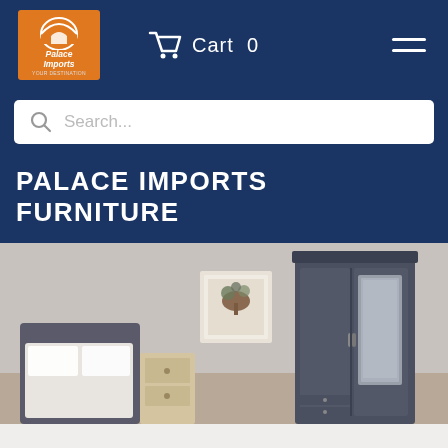[Figure (screenshot): Palace Imports website header with navy blue navigation bar containing: Palace Imports orange logo on left, cart icon with 'Cart 0' text in center, hamburger menu on right. Below nav: white search bar with magnifying glass icon and 'Search...' placeholder text. Below: navy blue banner with 'PALACE IMPORTS FURNITURE' in large white uppercase text. Below: product image area showing a dark grey wardrobe/armoire with mirror in a bedroom setting with a bed and framed art visible.]